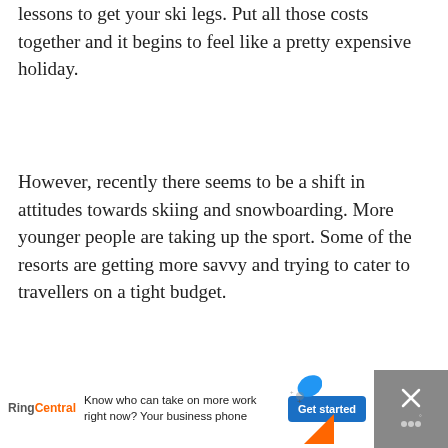lessons to get your ski legs. Put all those costs together and it begins to feel like a pretty expensive holiday.
However, recently there seems to be a shift in attitudes towards skiing and snowboarding. More younger people are taking up the sport. Some of the resorts are getting more savvy and trying to cater to travellers on a tight budget.
[Figure (other): White image area placeholder with interactive UI buttons (heart/like button showing count of 1, and share button) on the right side]
[Figure (other): Advertisement banner at the bottom: RingCentral ad with text 'Know who can take on more work right now? Your business phone' and a 'Get started' button. Dark background with a close button on the right.]